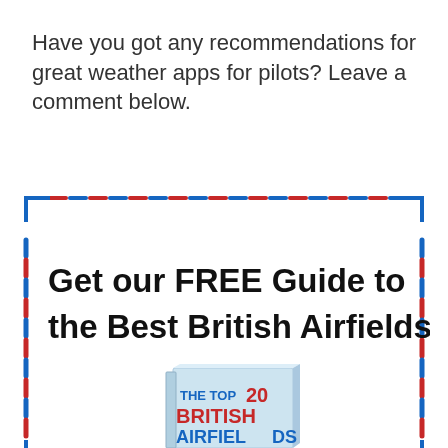Have you got any recommendations for great weather apps for pilots? Leave a comment below.
[Figure (infographic): Promotional box with alternating blue and red dashed border advertising a free guide to the Best British Airfields, featuring a book cover showing 'THE TOP 20 BRITISH AIRFIELDS']